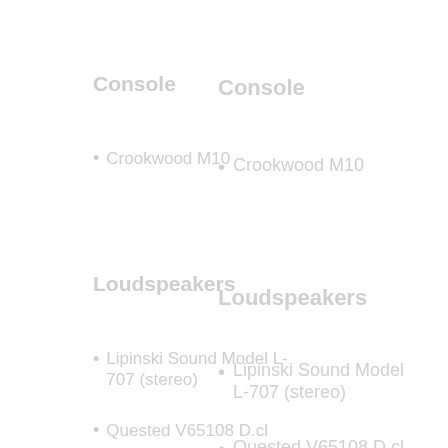Console
Crookwood M10
Loudspeakers
Lipinski Sound Model L-707 (stereo)
Quested V65108 D.cl
ATC sl100 (stereo)
Genelec 1031A (mixed)
Headphones
Sennheiser HD650
AKG K240MK II
Digital Workstations